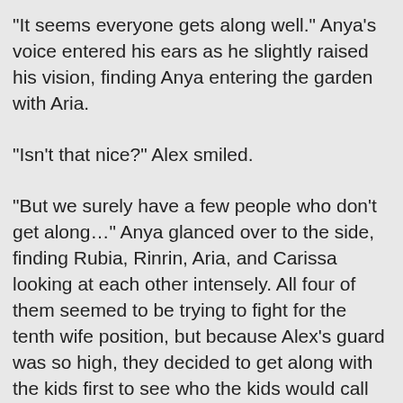"It seems everyone gets along well." Anya's voice entered his ears as he slightly raised his vision, finding Anya entering the garden with Aria.
"Isn't that nice?" Alex smiled.
"But we surely have a few people who don't get along…" Anya glanced over to the side, finding Rubia, Rinrin, Aria, and Carissa looking at each other intensely. All four of them seemed to be trying to fight for the tenth wife position, but because Alex's guard was so high, they decided to get along with the kids first to see who the kids would call Mother first.